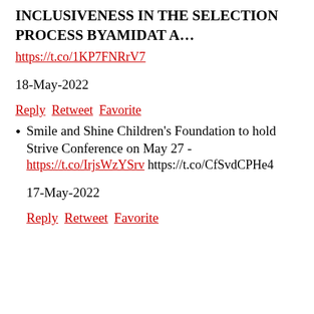INCLUSIVENESS IN THE SELECTION PROCESS BYAMIDAT A…
https://t.co/1KP7FNRrV7
18-May-2022
Reply Retweet Favorite
Smile and Shine Children's Foundation to hold Strive Conference on May 27 - https://t.co/IrjsWzYSrv https://t.co/CfSvdCPHe4
17-May-2022
Reply Retweet Favorite